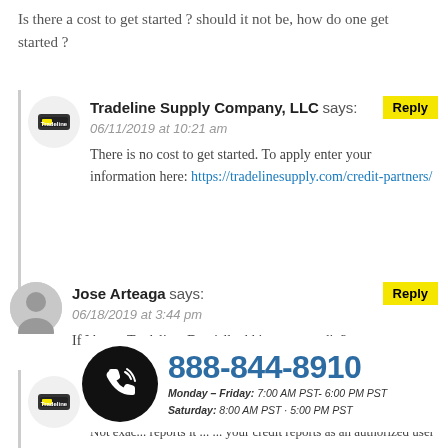Is there a cost to get started ? should it not be, how do one get started ?
Tradeline Supply Company, LLC says: 06/11/2019 at 10:21 am
There is no cost to get started. To apply enter your information here: https://tradelinesupply.com/credit-partners/
Jose Arteaga says: 06/18/2019 at 3:44 pm
If I buy a Tradeline. Do y'all add it to my credit ?
Tradeline Supply Company, LLC says: 06/18/2...
Not exac... reports it ... ... your credit reports as an authorized user account.
[Figure (infographic): Phone call icon with number 888-844-8910 and hours: Monday-Friday 7:00 AM PST - 6:00 PM PST, Saturday 8:00 AM PST - 5:00 PM PST]